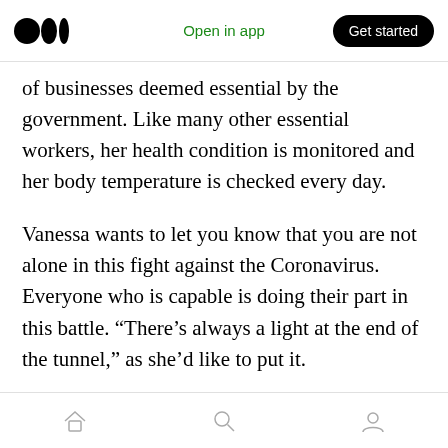Open in app | Get started
of businesses deemed essential by the government. Like many other essential workers, her health condition is monitored and her body temperature is checked every day.
Vanessa wants to let you know that you are not alone in this fight against the Coronavirus. Everyone who is capable is doing their part in this battle. “There’s always a light at the end of the tunnel,” as she’d like to put it.
While she and other essential workers have to work outside of their homes to help fight this
Home | Search | Profile